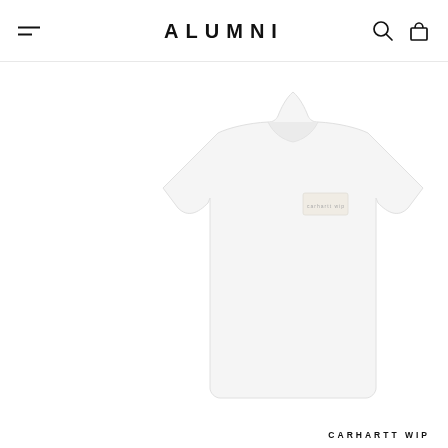ALUMNI
[Figure (photo): White Carhartt WIP t-shirt with a small patch/label on the chest, displayed against a white background, cropped so the right portion of the shirt is visible.]
CARHARTT WIP